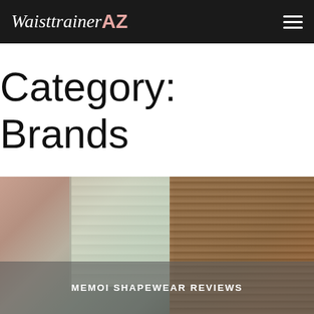WaisttrainerAZ
Category: Brands
[Figure (photo): Woman in shapewear standing near a window with wooden shutters, with a semi-transparent overlay at the bottom showing the text 'MEMOI SHAPEWEAR REVIEWS']
MEMOI SHAPEWEAR REVIEWS